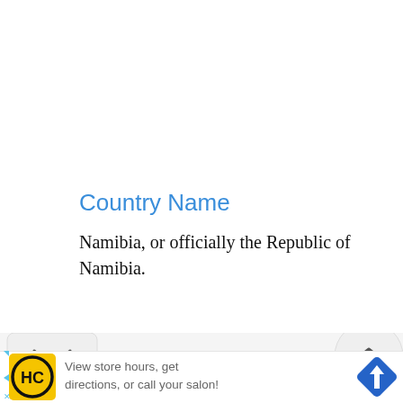Country Name
Namibia, or officially the Republic of Namibia.
[Figure (screenshot): Navigation bar with chevron down button on the left and chevron up button on the right, on a light gray background.]
[Figure (infographic): Advertisement bar: HC salon logo, text 'View store hours, get directions, or call your salon!', blue diamond navigation icon on the right.]